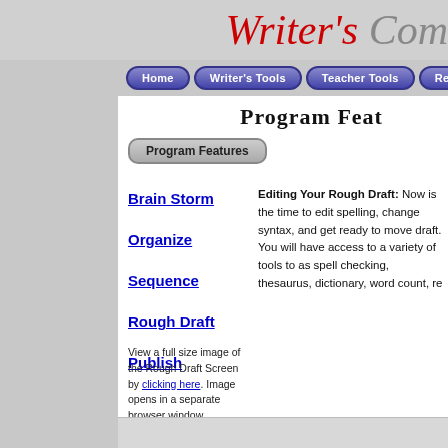Writer's Com
[Figure (screenshot): Navigation bar with buttons: Home, Writer's Tools, Teacher Tools, Research Links]
Program Feat
[Figure (other): Program Features button/badge]
Brain Storm
Organize
Sequence
Rough Draft
Publish
Editing Your Rough Draft: Now is the time to edit spelling, change syntax, and get ready to move draft. You will have access to a variety of tools to as spell checking, thesaurus, dictionary, word count, re
View a full size image of the Rough Draft Screen by clicking here. Image opens in a separate browser window.